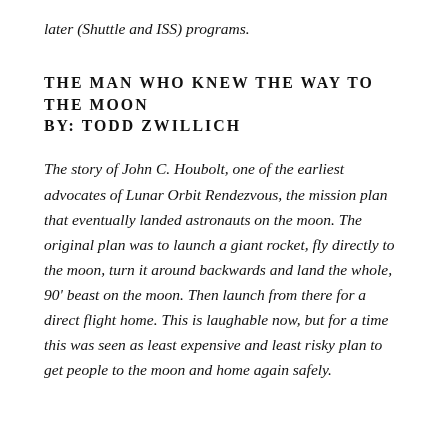later (Shuttle and ISS) programs.
THE MAN WHO KNEW THE WAY TO THE MOON
BY: TODD ZWILLICH
The story of John C. Houbolt, one of the earliest advocates of Lunar Orbit Rendezvous, the mission plan that eventually landed astronauts on the moon. The original plan was to launch a giant rocket, fly directly to the moon, turn it around backwards and land the whole, 90' beast on the moon. Then launch from there for a direct flight home. This is laughable now, but for a time this was seen as least expensive and least risky plan to get people to the moon and home again safely.